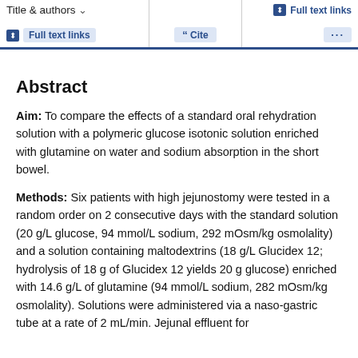Title & authors | Full text links | Cite | Full text links | ...
Abstract
Aim: To compare the effects of a standard oral rehydration solution with a polymeric glucose isotonic solution enriched with glutamine on water and sodium absorption in the short bowel.
Methods: Six patients with high jejunostomy were tested in a random order on 2 consecutive days with the standard solution (20 g/L glucose, 94 mmol/L sodium, 292 mOsm/kg osmolality) and a solution containing maltodextrins (18 g/L Glucidex 12; hydrolysis of 18 g of Glucidex 12 yields 20 g glucose) enriched with 14.6 g/L of glutamine (94 mmol/L sodium, 282 mOsm/kg osmolality). Solutions were administered via a naso-gastric tube at a rate of 2 mL/min. Jejunal effluent for